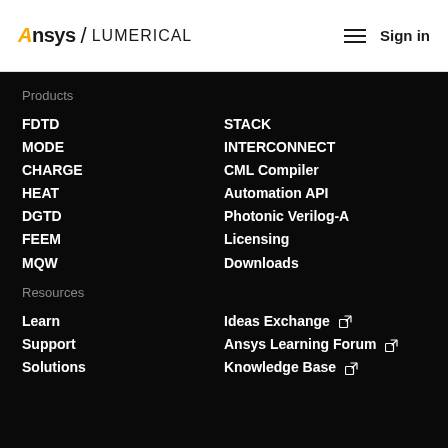[Figure (logo): Ansys / Lumerical logo in header]
Sign in
Products
FDTD
MODE
CHARGE
HEAT
DGTD
FEEM
MQW
STACK
INTERCONNECT
CML Compiler
Automation API
Photonic Verilog-A
Licensing
Downloads
Resources
Learn
Support
Solutions
Ideas Exchange
Ansys Learning Forum
Knowledge Base